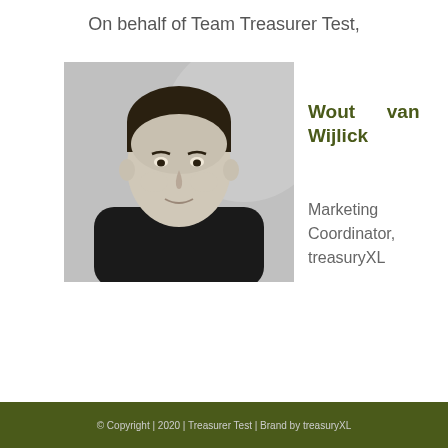On behalf of Team Treasurer Test,
[Figure (photo): Black and white portrait photo of Wout van Wijlick, a young man wearing a black turtleneck sweater, smiling slightly, photographed against a light grey background.]
Wout van Wijlick
Marketing Coordinator, treasuryXL
© Copyright | 2020 | Treasurer Test | Brand by treasuryXL